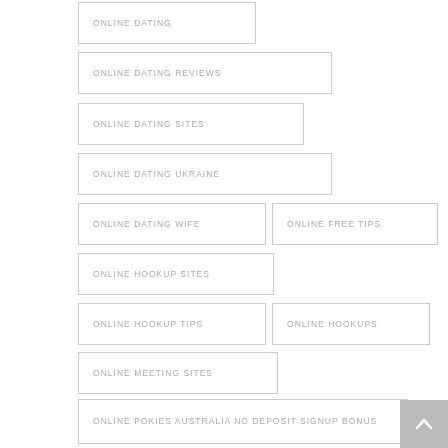ONLINE DATING
ONLINE DATING REVIEWS
ONLINE DATING SITES
ONLINE DATING UKRAINE
ONLINE DATING WIFE
ONLINE FREE TIPS
ONLINE HOOKUP SITES
ONLINE HOOKUP TIPS
ONLINE HOOKUPS
ONLINE MEETING SITES
ONLINE POKIES AUSTRALIA NO DEPOSIT SIGNUP BONUS
ONLINE SEX CAMERAS
ONLINE WIVES